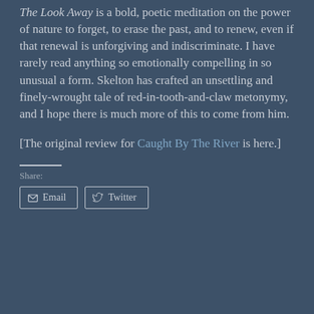The Look Away is a bold, poetic meditation on the power of nature to forget, to erase the past, and to renew, even if that renewal is unforgiving and indiscriminate. I have rarely read anything so emotionally compelling in so unusual a form. Skelton has crafted an unsettling and finely-wrought tale of red-in-tooth-and-claw metonymy, and I hope there is much more of this to come from him.
[The original review for Caught By The River is here.]
Share:
Email  Twitter